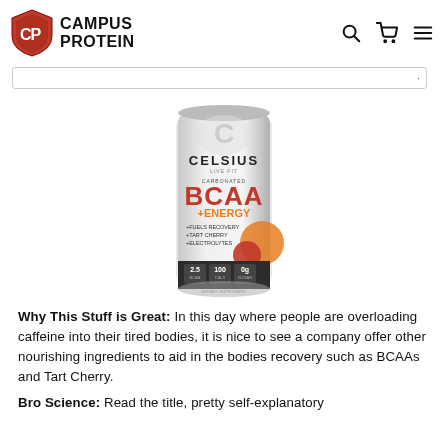Campus Protein
[Figure (photo): Celsius Live Fit BCAA + Energy drink can in white/silver with red and orange text and citrus fruit imagery. Can shows: BCAA +ENERGY, +FUELS RECOVERY, +TART CHERRY, +ELECTROLYTES, 2.5g BCAA, 100 calories, 0g sugar. Dietary supplement, 12 fl oz.]
Why This Stuff is Great: In this day where people are overloading caffeine into their tired bodies, it is nice to see a company offer other nourishing ingredients to aid in the bodies recovery such as BCAAs and Tart Cherry.
Bro Science: Read the title, pretty self-explanatory